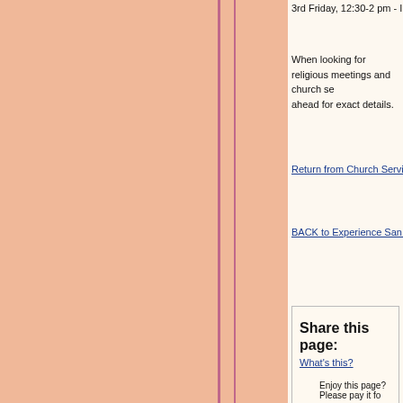3rd Friday, 12:30-2 pm - InterSpirituality Meeting
When looking for religious meetings and church services, please call ahead for exact details.
Return from Church Services in San Miguel to About San Miguel
BACK to Experience San Miguel HOME
Share this page:
What's this?
Enjoy this page? Please pay it fo
Copyright Experience San Miguel
Protected by international copyright conven
Please do not copy any material on this pa
Powered By SBI!